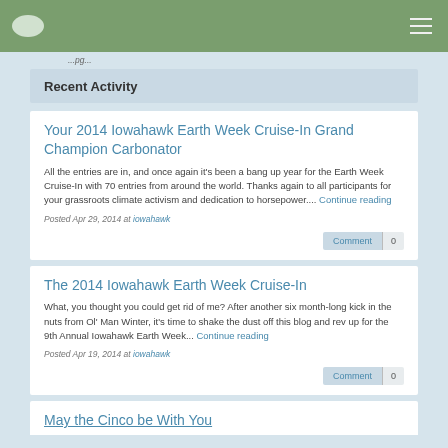Recent Activity
Your 2014 Iowahawk Earth Week Cruise-In Grand Champion Carbonator
All the entries are in, and once again it's been a bang up year for the Earth Week Cruise-In with 70 entries from around the world. Thanks again to all participants for your grassroots climate activism and dedication to horsepower.... Continue reading
Posted Apr 29, 2014 at iowahawk
Comment 0
The 2014 Iowahawk Earth Week Cruise-In
What, you thought you could get rid of me? After another six month-long kick in the nuts from Ol' Man Winter, it's time to shake the dust off this blog and rev up for the 9th Annual Iowahawk Earth Week... Continue reading
Posted Apr 19, 2014 at iowahawk
Comment 0
May the Cinco be With You